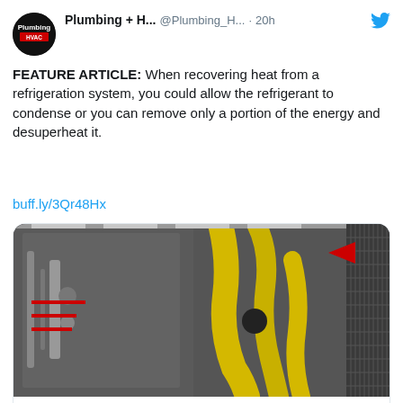[Figure (screenshot): Twitter/X post from Plumbing + H... (@Plumbing_H...) posted 20h ago about a feature article on heat recovery from refrigeration systems, with an image of HVAC equipment (yellow insulated pipes, a condenser unit) and a link card to plumbingandhvac.ca article titled 'Desuperheating heat exchangers - Plumbing & HVAC']